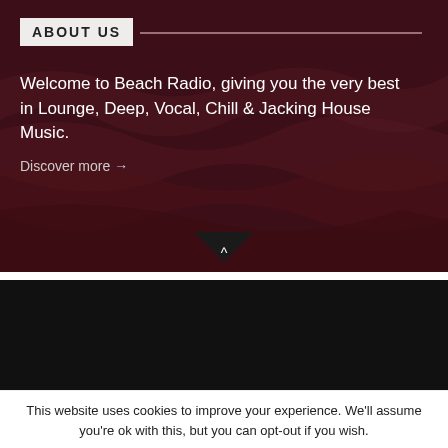ABOUT US
Welcome to Beach Radio, giving you the very best in Lounge, Deep, Vocal, Chill & Jacking House Music.
Discover more →
> ABOUT   > OFFICIAL PARTNERSHIP   > CELEBREMAGAZINE
> SCHEDULE   > CHARTS   > CONTACT   > DONATE
This website uses cookies to improve your experience. We'll assume you're ok with this, but you can opt-out if you wish.
Accept  Reject  Read More